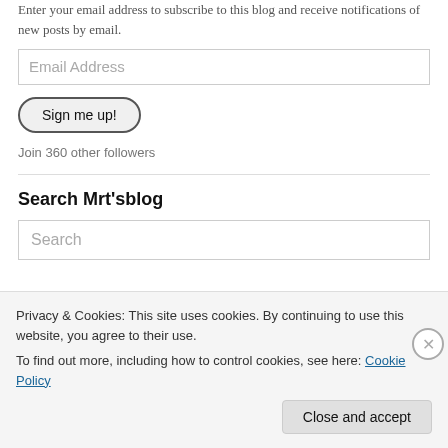Enter your email address to subscribe to this blog and receive notifications of new posts by email.
[Figure (other): Email Address input field]
[Figure (other): Sign me up! button]
Join 360 other followers
Search Mrt'sblog
[Figure (other): Search input field]
Privacy & Cookies: This site uses cookies. By continuing to use this website, you agree to their use.
To find out more, including how to control cookies, see here: Cookie Policy
[Figure (other): Close and accept button]